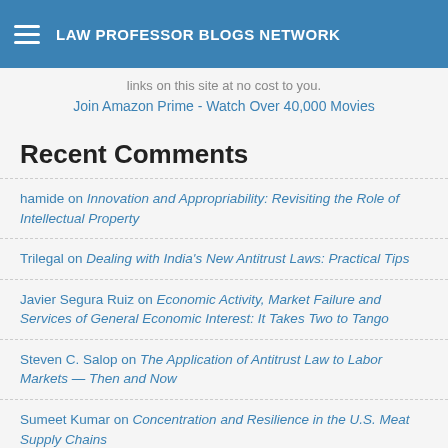LAW PROFESSOR BLOGS NETWORK
links on this site at no cost to you.
Join Amazon Prime - Watch Over 40,000 Movies
Recent Comments
hamide on Innovation and Appropriability: Revisiting the Role of Intellectual Property
Trilegal on Dealing with India's New Antitrust Laws: Practical Tips
Javier Segura Ruiz on Economic Activity, Market Failure and Services of General Economic Interest: It Takes Two to Tango
Steven C. Salop on The Application of Antitrust Law to Labor Markets — Then and Now
Sumeet Kumar on Concentration and Resilience in the U.S. Meat Supply Chains